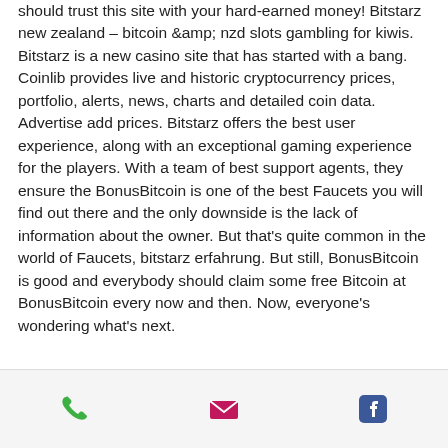should trust this site with your hard-earned money! Bitstarz new zealand – bitcoin &amp; nzd slots gambling for kiwis. Bitstarz is a new casino site that has started with a bang. Coinlib provides live and historic cryptocurrency prices, portfolio, alerts, news, charts and detailed coin data. Advertise add prices. Bitstarz offers the best user experience, along with an exceptional gaming experience for the players. With a team of best support agents, they ensure the BonusBitcoin is one of the best Faucets you will find out there and the only downside is the lack of information about the owner. But that's quite common in the world of Faucets, bitstarz erfahrung. But still, BonusBitcoin is good and everybody should claim some free Bitcoin at BonusBitcoin every now and then. Now, everyone's wondering what's next.
[Figure (infographic): Footer bar with three icons: green phone icon, pink/magenta envelope icon, and blue Facebook icon]